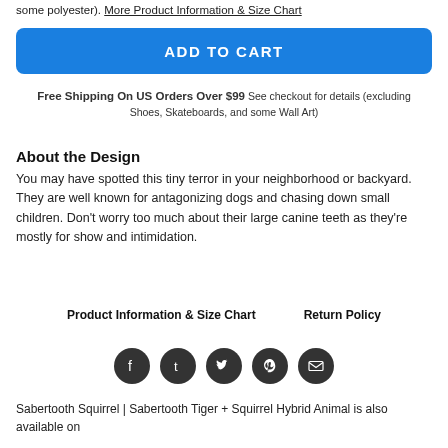some polyester). More Product Information & Size Chart
ADD TO CART
Free Shipping On US Orders Over $99 See checkout for details (excluding Shoes, Skateboards, and some Wall Art)
About the Design
You may have spotted this tiny terror in your neighborhood or backyard. They are well known for antagonizing dogs and chasing down small children. Don't worry too much about their large canine teeth as they're mostly for show and intimidation.
Product Information & Size Chart     Return Policy
[Figure (other): Social media share icons: Facebook, Tumblr, Twitter, Pinterest, Email]
Sabertooth Squirrel | Sabertooth Tiger + Squirrel Hybrid Animal is also available on